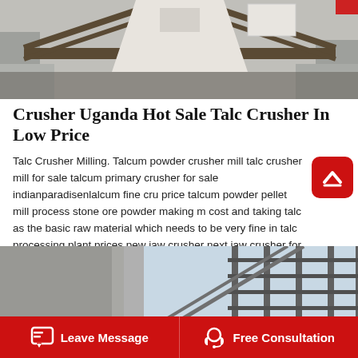[Figure (photo): Industrial crusher machinery viewed from below, showing metal frame and chute structure with concrete blocks]
Crusher Uganda Hot Sale Talc Crusher In Low Price
Talc Crusher Milling. Talcum powder crusher mill talc crusher mill for sale talcum primary crusher for sale indianparadisenlalcum fine cru price talcum powder pellet mill process stone ore powder making m cost and taking talc as the basic raw material which needs to be very fine in talc processing plant prices pew jaw crusher next jaw crusher for sale in uae chat onlineead the rest.
[Figure (photo): Industrial building exterior with metal scaffolding/ladder structure against a light sky background]
Leave Message   Free Consultation